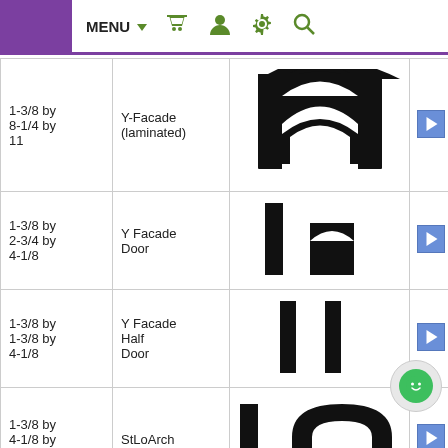MENU (navigation bar with basket, user, settings, search icons)
| Dimensions | Name | Image | Action |
| --- | --- | --- | --- |
| 1-3/8 by 8-1/4 by 11 | Y-Facade (laminated) | [image] | ▶ |
| 1-3/8 by 2-3/4 by 4-1/8 | Y Facade Door | [image] | ▶ |
| 1-3/8 by 1-3/8 by 4-1/8 | Y Facade Half Door | [image] | ▶ |
| 1-3/8 by 4-1/8 by 11 | StLoArch | [image] | ▶ |
| 1-3/8 by 2-3/4 by 5-1/2 | Double Eastern Entry | [image] | ▶ |
| 1-3/8 by | Small 5-1/2" | [image] | ▶ |